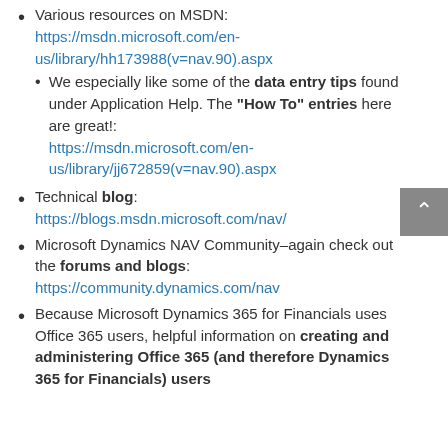Various resources on MSDN: https://msdn.microsoft.com/en-us/library/hh173988(v=nav.90).aspx
We especially like some of the data entry tips found under Application Help. The "How To" entries here are great!: https://msdn.microsoft.com/en-us/library/jj672859(v=nav.90).aspx
Technical blog: https://blogs.msdn.microsoft.com/nav/
Microsoft Dynamics NAV Community–again check out the forums and blogs: https://community.dynamics.com/nav
Because Microsoft Dynamics 365 for Financials uses Office 365 users, helpful information on creating and administering Office 365 (and therefore Dynamics 365 for Financials) users